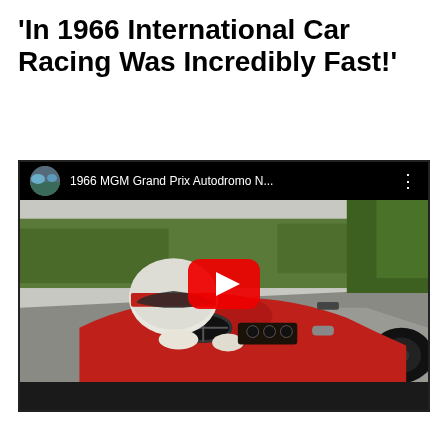'In 1966 International Car Racing Was Incredibly Fast!'
[Figure (screenshot): YouTube video thumbnail showing a 1966 Formula racing car cockpit view from Autodromo N... with a red YouTube play button overlay. The video title reads '1966 MGM Grand Prix Autodromo N...']